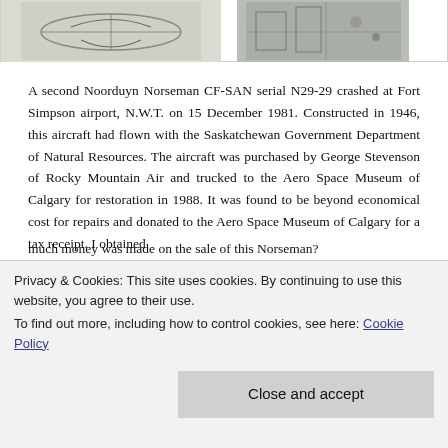[Figure (photo): Partial view of two images at top of page: left shows a sketch/illustration of an aircraft, right shows a photograph of aircraft construction or wreckage.]
A second Noorduyn Norseman CF-SAN serial N29-29 crashed at Fort Simpson airport, N.W.T. on 15 December 1981. Constructed in 1946, this aircraft had flown with the Saskatchewan Government Department of Natural Resources. The aircraft was purchased by George Stevenson of Rocky Mountain Air and trucked to the Aero Space Museum of Calgary for restoration in 1988. It was found to be beyond economical cost for repairs and donated to the Aero Space Museum of Calgary for a tax receipt. I obtained
much money was made on the sale of this Norseman?
Privacy & Cookies: This site uses cookies. By continuing to use this website, you agree to their use.
To find out more, including how to control cookies, see here: Cookie Policy
Close and accept